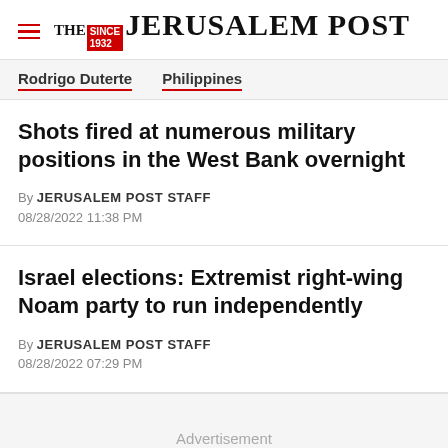THE JERUSALEM POST
Rodrigo Duterte   Philippines
Shots fired at numerous military positions in the West Bank overnight
By JERUSALEM POST STAFF
08/28/2022 11:38 PM
Israel elections: Extremist right-wing Noam party to run independently
By JERUSALEM POST STAFF
08/28/2022 07:29 PM
Advertisement